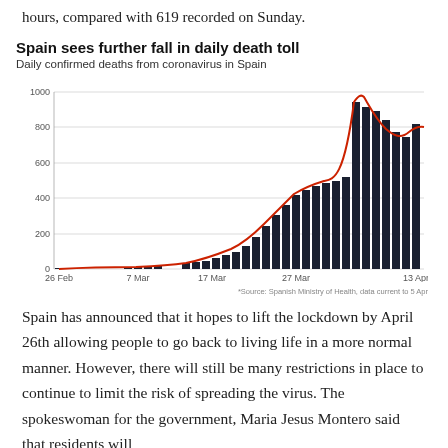hours, compared with 619 recorded on Sunday.
[Figure (bar-chart): Spain sees further fall in daily death toll]
Source: Spanish Ministry of Health, data current to 5 Apr
Spain has announced that it hopes to lift the lockdown by April 26th allowing people to go back to living life in a more normal manner. However, there will still be many restrictions in place to continue to limit the risk of spreading the virus. The spokeswoman for the government, Maria Jesus Montero said that residents will